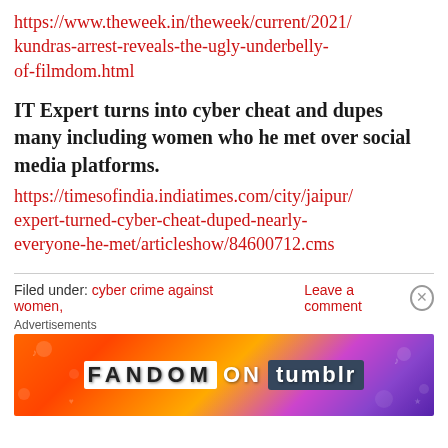https://www.theweek.in/theweek/current/2021/kundras-arrest-reveals-the-ugly-underbelly-of-filmdom.html
IT Expert turns into cyber cheat and dupes many including women who he met over social media platforms.
https://timesofindia.indiatimes.com/city/jaipur/expert-turned-cyber-cheat-duped-nearly-everyone-he-met/articleshow/84600712.cms
Filed under: cyber crime against women,     Leave a comment
Advertisements
[Figure (other): Fandom on Tumblr advertisement banner with colorful gradient background (orange to purple)]